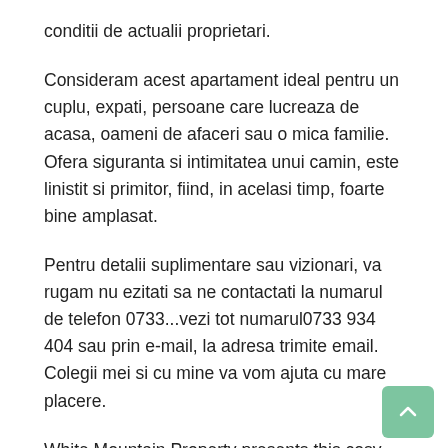conditii de actualii proprietari.
Consideram acest apartament ideal pentru un cuplu, expati, persoane care lucreaza de acasa, oameni de afaceri sau o mica familie. Ofera siguranta si intimitatea unui camin, este linistit si primitor, fiind, in acelasi timp, foarte bine amplasat.
Pentru detalii suplimentare sau vizionari, va rugam nu ezitati sa ne contactati la numarul de telefon 0733...vezi tot numarul0733 934 404 sau prin e-mail, la adresa trimite email. Colegii mei si cu mine va vom ajuta cu mare placere.
White Mountain Property presents this cosy one bedroom apartment for rent conveniently located close to Gemenii and Planetelor area, on the third floor of a four storey building.
The area is known for its proximity to the major supermarkets (Carrefour, Profi etc), farmers market, commercial areas, cabinets